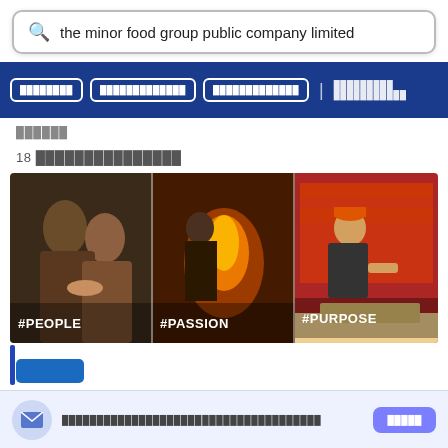the minor food group public company limited
█████████  ████████████████  ████████████████  |  █████████████ ████████████████
██████
18 ███████████████████
[Figure (photo): Three-panel photo collage with hashtags: #PEOPLE (people shaking hands), #PASSION (chef cooking with fire), #PURPOSE (restaurant worker serving customer)]
████████████████████████████████████████████  █████